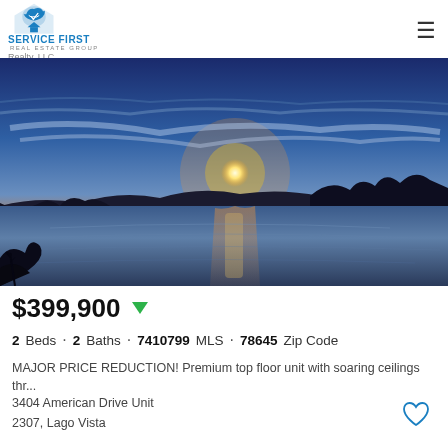Service First Real Estate Group | Realty, LLC.
[Figure (photo): Sunset over a lake with silhouetted treeline, orange and blue sky, water reflection]
$399,900
2 Beds · 2 Baths · 7410799 MLS · 78645 Zip Code
MAJOR PRICE REDUCTION! Premium top floor unit with soaring ceilings thr...
3404 American Drive Unit
2307, Lago Vista